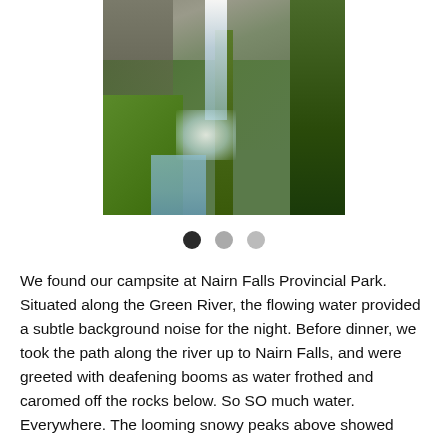[Figure (photo): Aerial/elevated view of a tall waterfall (Nairn Falls) cascading down rocky cliffs, surrounded by dense green forest and coniferous trees, with a river at the bottom.]
We found our campsite at Nairn Falls Provincial Park. Situated along the Green River, the flowing water provided a subtle background noise for the night. Before dinner, we took the path along the river up to Nairn Falls, and were greeted with deafening booms as water frothed and caromed off the rocks below. So SO much water. Everywhere. The looming snowy peaks above showed